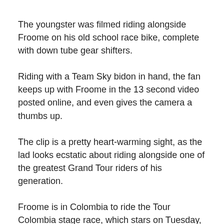The youngster was filmed riding alongside Froome on his old school race bike, complete with down tube gear shifters.
Riding with a Team Sky bidon in hand, the fan keeps up with Froome in the 13 second video posted online, and even gives the camera a thumbs up.
The clip is a pretty heart-warming sight, as the lad looks ecstatic about riding alongside one of the greatest Grand Tour riders of his generation.
Froome is in Colombia to ride the Tour Colombia stage race, which stars on Tuesday, February 12.
The 33-year-old has also been putting in some unorthodox